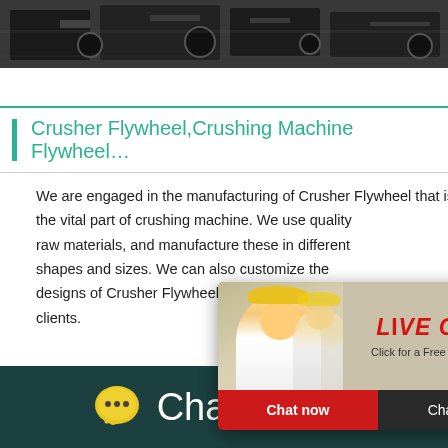[Figure (photo): Industrial machinery/equipment photograph at the top of the page]
Crusher Flywheel,Crushing Machine Flywheel…
We are engaged in the manufacturing of Crusher Flywheel that is the vital part of crushing machine. We use quality raw materials, and manufacture these in different shapes and sizes. We can also customize the designs of Crusher Flywheel as per the need of clients.
Processingmaterial: Bentonite,construction wa... Stone,coal
Capacity: 190T/H
[Figure (screenshot): Live Chat popup overlay with person in hard hat, LIVE CHAT text in red, 'Click for a Free Consultation', Chat now and Chat later buttons]
[Figure (screenshot): Right side chat widget with crusher machine image, 'hour online' text, and 'Click me to chat>>' button]
Chat Online